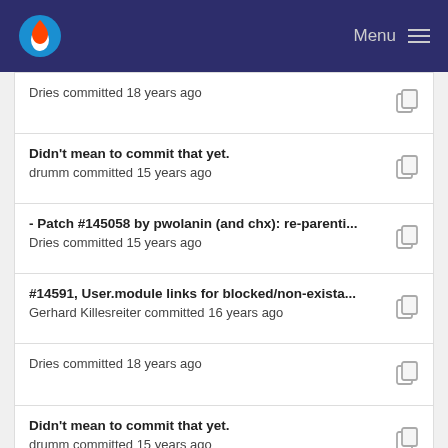Menu
Dries committed 18 years ago
Didn't mean to commit that yet.
drumm committed 15 years ago
- Patch #145058 by pwolanin (and chx): re-parenti...
Dries committed 15 years ago
#14591, User.module links for blocked/non-exista...
Gerhard Killesreiter committed 16 years ago
Dries committed 18 years ago
Didn't mean to commit that yet.
drumm committed 15 years ago
Dries committed 18 years ago